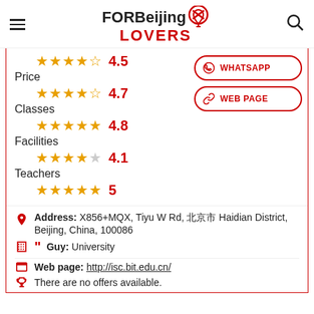FORBeijing LOVERS
4.5
Price
4.7
Classes
4.8
Facilities
4.1
Teachers
5
WHATSAPP
WEB PAGE
Address: X856+MQX, Tiyu W Rd, 北京市 Haidian District, Beijing, China, 100086
Guy: University
Web page: http://isc.bit.edu.cn/
There are no offers available.